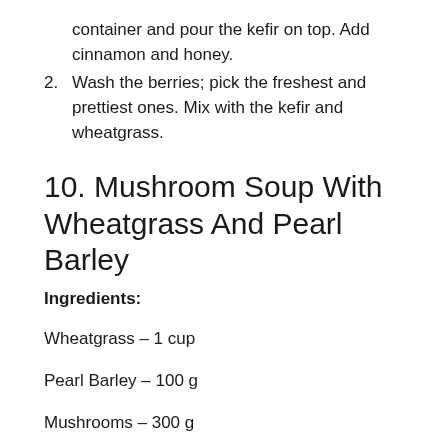container and pour the kefir on top. Add cinnamon and honey.
2. Wash the berries; pick the freshest and prettiest ones. Mix with the kefir and wheatgrass.
10. Mushroom Soup With Wheatgrass And Pearl Barley
Ingredients:
Wheatgrass – 1 cup
Pearl Barley – 100 g
Mushrooms – 300 g
Potatoes – 2 pieces